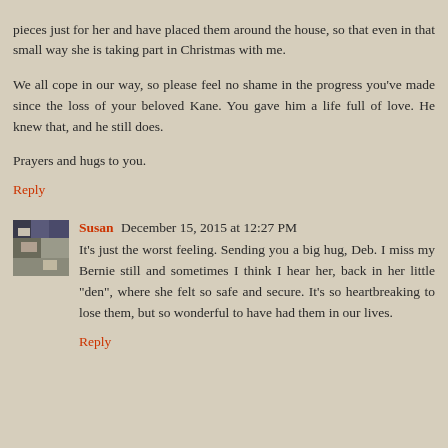pieces just for her and have placed them around the house, so that even in that small way she is taking part in Christmas with me.
We all cope in our way, so please feel no shame in the progress you've made since the loss of your beloved Kane. You gave him a life full of love. He knew that, and he still does.
Prayers and hugs to you.
Reply
Susan December 15, 2015 at 12:27 PM
It's just the worst feeling. Sending you a big hug, Deb. I miss my Bernie still and sometimes I think I hear her, back in her little "den", where she felt so safe and secure. It's so heartbreaking to lose them, but so wonderful to have had them in our lives.
Reply